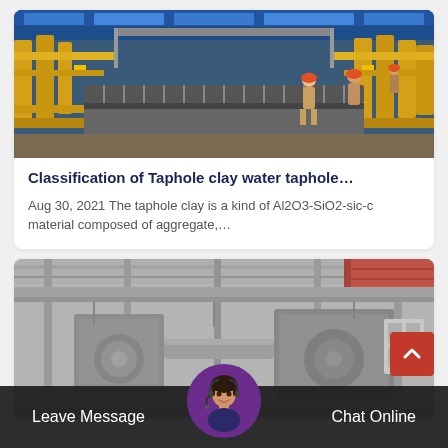[Figure (photo): Industrial factory floor with yellow conveyor/roller equipment, workers in hard hats, blue ceiling structure]
Classification of Taphole clay water taphole…
Aug 30, 2021 The taphole clay is a kind of Al2O3-SiO2-sic-c material composed of aggregate,…
[Figure (photo): Grayscale industrial factory interior with large machinery, cranes, and red roof structure]
Leave Message
Chat Online